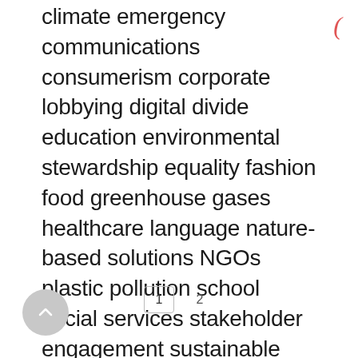climate emergency communications consumerism corporate lobbying digital divide education environmental stewardship equality fashion food greenhouse gases healthcare language nature-based solutions NGOs plastic pollution school social services stakeholder engagement sustainable development technology travel youth
1  2